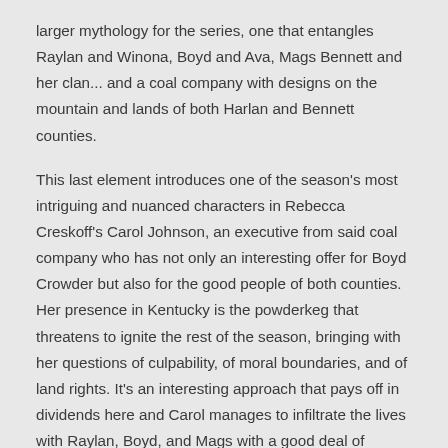larger mythology for the series, one that entangles Raylan and Winona, Boyd and Ava, Mags Bennett and her clan... and a coal company with designs on the mountain and lands of both Harlan and Bennett counties.
This last element introduces one of the season's most intriguing and nuanced characters in Rebecca Creskoff's Carol Johnson, an executive from said coal company who has not only an interesting offer for Boyd Crowder but also for the good people of both counties. Her presence in Kentucky is the powderkeg that threatens to ignite the rest of the season, bringing with her questions of culpability, of moral boundaries, and of land rights. It's an interesting approach that pays off in dividends here and Carol manages to infiltrate the lives with Raylan, Boyd, and Mags with a good deal of bluster and confidence.